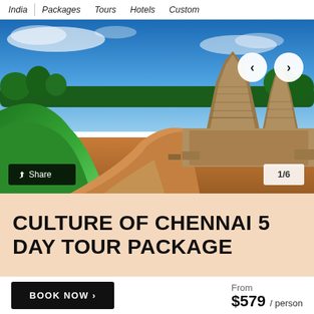India | Packages | Tours | Hotels | Custom
[Figure (photo): Photo of Mahabalipuram Shore Temple, Chennai, India. Ancient stone temple towers against a blue sky, with green lawns on the left and sandy grounds.]
Share
1/6
CULTURE OF CHENNAI 5 DAY TOUR PACKAGE
BOOK NOW ›
From $579 / person